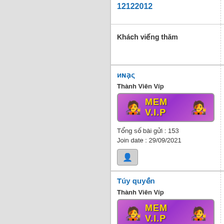12122012
Blờ...
Khách viếng thăm
Xin c
иɴạς
Re:
8:45
Thành Viên Víp
[Figure (illustration): MEM V.I.P badge with cool character emoji on purple/pink gradient background]
than
Cho
Tổng số bài gửi : 153
Join date : 29/09/2021
Like button
Túy quyền
Re:
202
Thành Viên Víp
xin c
[Figure (illustration): MEM V.I.P badge with cool character emoji on purple/pink gradient background]